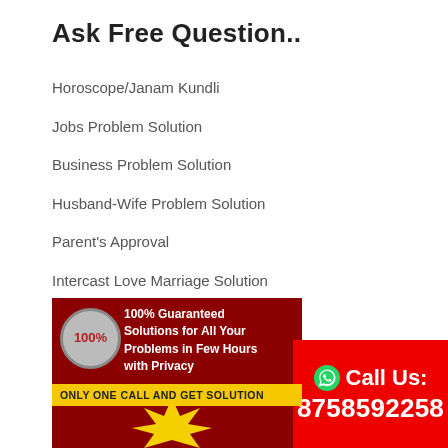Ask Free Question..
Horoscope/Janam Kundli
Jobs Problem Solution
Business Problem Solution
Husband-Wife Problem Solution
Parent's Approval
Intercast Love Marriage Solution
Career Problem Solution
Astro Guidance
Astrologer Expert
[Figure (infographic): Red banner with 100% guarantee badge, text '100% Guaranteed Solutions for All Your Problems in Few Hours with Privacy', yellow bar 'Only One Call and Get Solution', and a figure at the bottom]
[Figure (infographic): Red box with WhatsApp icon and text 'Call Us: 8758592258']